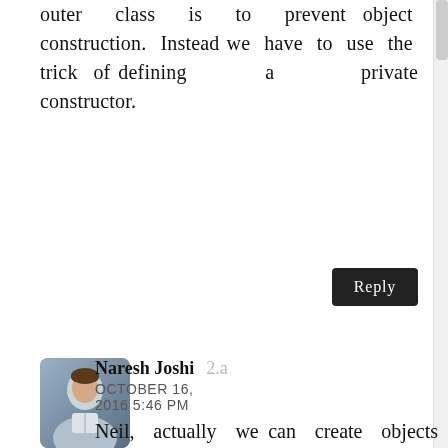outer class is to prevent object construction. Instead we have to use the trick of defining a private constructor.
Reply
Naresh Joshi  2.a
OCTOBER 16, 2016 5:46 PM
Neil, actually we can create objects from static classes. Think of static inner classes, we can create objects